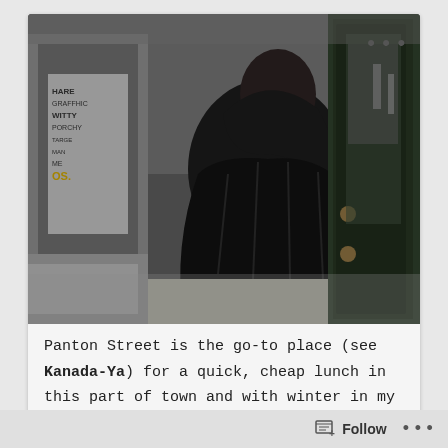[Figure (photo): A man in a dark winter puffer jacket standing on a city street (Panton Street), viewed from behind, looking at the entrance of a restaurant with dark green doors. A sandwich board sign is visible near the door. Shop signs are visible on the left side of the street, and reflections and a blurred street scene are visible in the glass door.]
Panton Street is the go-to place (see Kanada-Ya) for a quick, cheap lunch in this part of town and with winter in my bones I felt like something warming
Follow ...